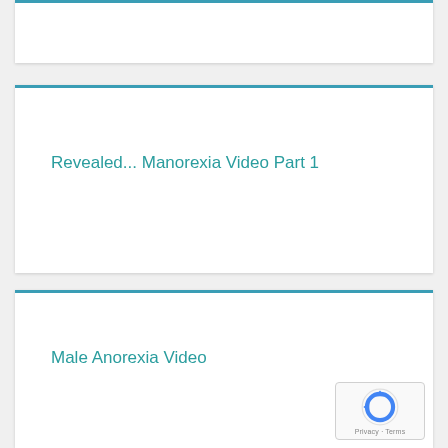Revealed... Manorexia Video Part 1
Male Anorexia Video